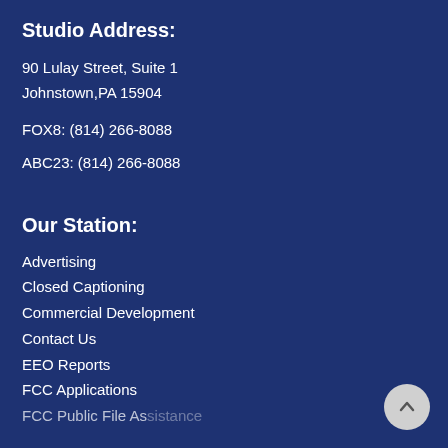Studio Address:
90 Lulay Street, Suite 1
Johnstown,PA 15904
FOX8: (814) 266-8088
ABC23: (814) 266-8088
Our Station:
Advertising
Closed Captioning
Commercial Development
Contact Us
EEO Reports
FCC Applications
FCC Public File Assistance